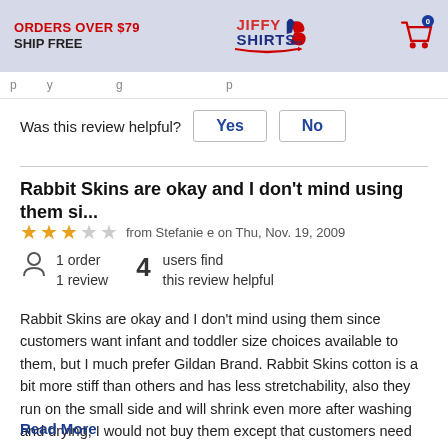ORDERS OVER $79 SHIP FREE | JiffyShirts.com | Cart: 0
Was this review helpful? Yes No
Rabbit Skins are okay and I don't mind using them si...
★★★☆☆ from Stefanie e on Thu, Nov. 19, 2009
1 order
1 review
4 users find this review helpful
Rabbit Skins are okay and I don't mind using them since customers want infant and toddler size choices available to them, but I much prefer Gildan Brand. Rabbit Skins cotton is a bit more stiff than others and has less stretchability, also they run on the small side and will shrink even more after washing and drying, I would not buy them except that customers need these sizes available to them, most everyone is happy with their shirts, but I would prefer to have a
Read More